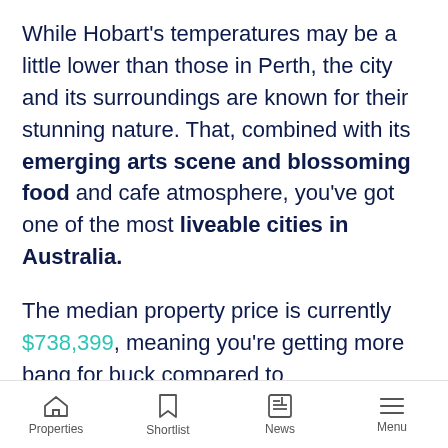While Hobart's temperatures may be a little lower than those in Perth, the city and its surroundings are known for their stunning nature. That, combined with its emerging arts scene and blossoming food and cafe atmosphere, you've got one of the most liveable cities in Australia.
The median property price is currently $738,399, meaning you're getting more bang for buck compared to
Properties | Shortlist | News | Menu